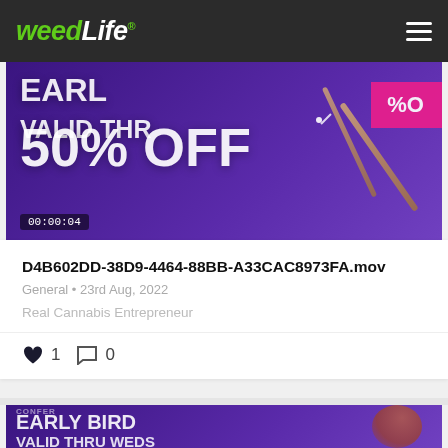weedLife® ☰
[Figure (screenshot): Video thumbnail showing purple background with '50% OFF EARLY BIRD VALID THRU' text in large white letters, pink badge on right, drumsticks visible, timecode 00:00:04]
D4B602DD-38D9-4464-88BB-A33CAC8973FA.mov
General • 23rd Aug, 2022
Real Cannabis Entrepreneur
♥ 1  💬 0
[Figure (screenshot): Partial video thumbnail at bottom showing purple background with 'EARLY BIRD VALID THRU WEDS % OFF' text and a person's face visible on right side]